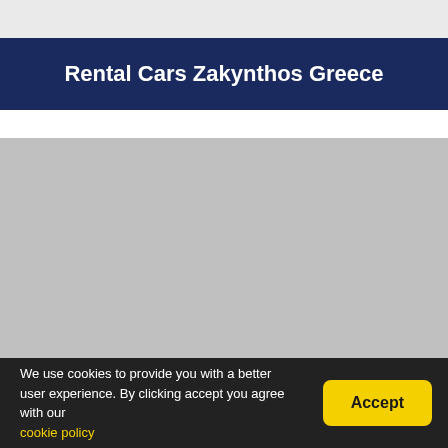Rental Cars Zakynthos Greece
[Figure (photo): Placeholder image area, grey background representing a car rental or Zakynthos scene]
We use cookies to provide you with a better user experience. By clicking accept you agree with our cookie policy